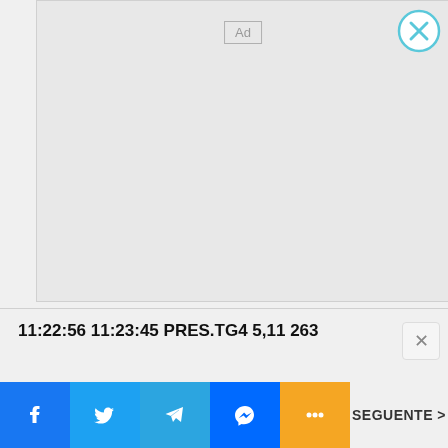[Figure (screenshot): Ad placeholder box with a grey background and 'Ad' label in top center, with a circular close button (X) in top-right corner]
11:22:56 11:23:45 PRES.TG4 5,11 263
[Figure (infographic): Social share bar with Facebook, Twitter, Telegram, Messenger, and more (three dots) buttons, plus a SEGUENTE > navigation button on the right]